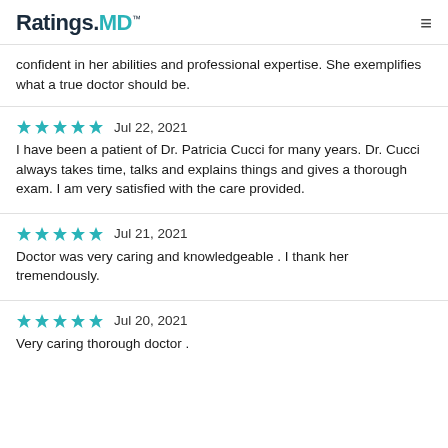Ratings.MD™
confident in her abilities and professional expertise. She exemplifies what a true doctor should be.
★★★★★  Jul 22, 2021
I have been a patient of Dr. Patricia Cucci for many years. Dr. Cucci always takes time, talks and explains things and gives a thorough exam. I am very satisfied with the care provided.
★★★★★  Jul 21, 2021
Doctor was very caring and knowledgeable . I thank her tremendously.
★★★★★  Jul 20, 2021
Very caring thorough doctor .